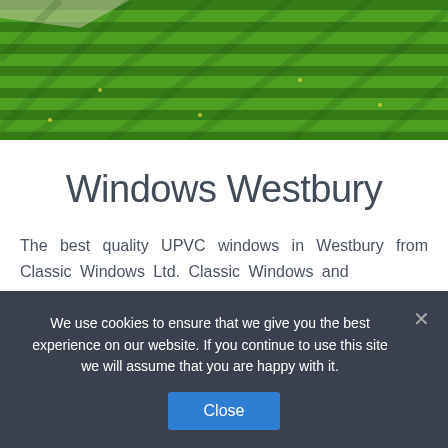[Figure (photo): Aerial view of a neatly mowed green lawn with striped pattern and light shadows, with what appears to be a pathway visible at the top left corner.]
Windows Westbury
The best quality UPVC windows in Westbury from Classic Windows Ltd. Classic Windows and
We use cookies to ensure that we give you the best experience on our website. If you continue to use this site we will assume that you are happy with it.
Close